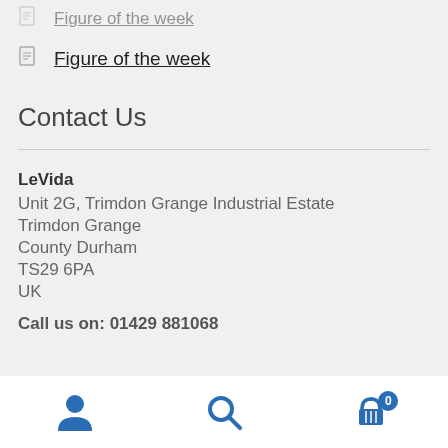Figure of the week
Figure of the week
Contact Us
LeVida
Unit 2G, Trimdon Grange Industrial Estate
Trimdon Grange
County Durham
TS29 6PA
UK
Call us on: 01429 881068
Navigation bar with user, search, and cart (0) icons